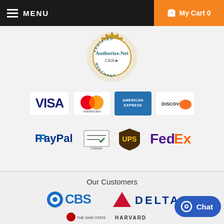MENU  My Cart 0
[Figure (logo): Authorize.Net Verified Merchant seal/badge in gold and teal]
[Figure (logo): Payment and shipping logos: VISA, Mastercard, American Express, Discover, PayPal, Checks, UPS, FedEx]
Our Customers
[Figure (logo): Customer logos: CBS, DELTA, DISCOVER, Marriott (partially visible), The Ohio State (partially visible), Harvard (partially visible)]